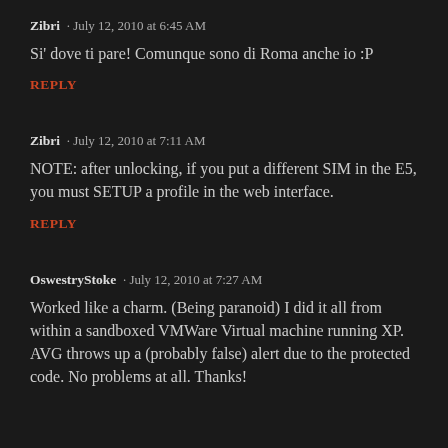Zibri · July 12, 2010 at 6:45 AM
Si' dove ti pare! Comunque sono di Roma anche io :P
REPLY
Zibri · July 12, 2010 at 7:11 AM
NOTE: after unlocking, if you put a different SIM in the E5, you must SETUP a profile in the web interface.
REPLY
OswestryStoke · July 12, 2010 at 7:27 AM
Worked like a charm. (Being paranoid) I did it all from within a sandboxed VMWare Virtual machine running XP. AVG throws up a (probably false) alert due to the protected code. No problems at all. Thanks!